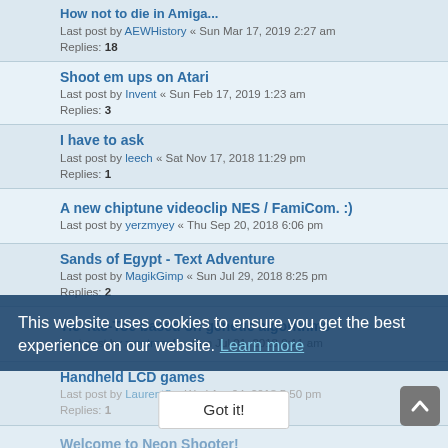How not to die in Amiga — Last post by AEWHistory « Sun Mar 17, 2019 2:27 am — Replies: 18
Shoot em ups on Atari — Last post by Invent « Sun Feb 17, 2019 1:23 am — Replies: 3
I have to ask — Last post by leech « Sat Nov 17, 2018 11:29 pm — Replies: 1
A new chiptune videoclip NES / FamiCom. :) — Last post by yerzmyey « Thu Sep 20, 2018 6:06 pm
Sands of Egypt - Text Adventure — Last post by MagikGimp « Sun Jul 29, 2018 8:25 pm — Replies: 2
Tic-Tac-Toe based on genetic algorithms — Last post by zxretrosoft « Sun Jul 01, 2018 9:11 am
Handheld LCD games — Last post by LaurentS « Wed Apr 04, 2018 5:50 pm — Replies: 1
Welcome to Neon Shooter! — Replies: 10
how to get multiple colors on a zx spectrum 48k — Last post by Dal « Sat Mar 31, 2018 8:23 am — Replies: 16
Noobs use C, real programmers use Basic — Last post by MrPixel « Mon Mar 12, 2018 1:41 am — Replies: 95
This website uses cookies to ensure you get the best experience on our website. Learn more
Got it!